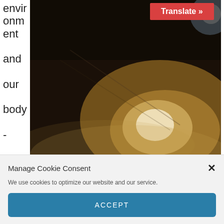environment and our body - minds (or,
[Figure (photo): Dark atmospheric photo of a misty industrial or underground scene with bright glowing light, taken in Manchester. A red 'Translate »' button overlay appears at the top center.]
Manchester (photo: Adam Craig)
Manage Cookie Consent
We use cookies to optimize our website and our service.
ACCEPT